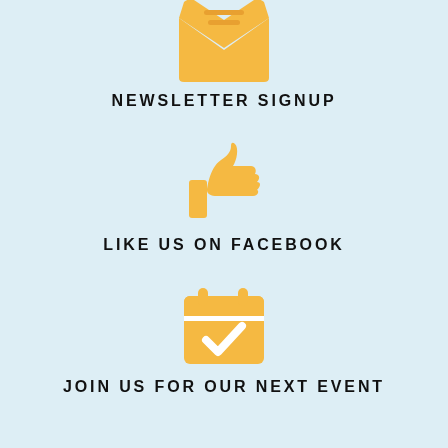[Figure (illustration): Golden/amber envelope icon with two horizontal lines on the flap, partially visible at the top of the page]
NEWSLETTER SIGNUP
[Figure (illustration): Golden/amber thumbs up / like icon]
LIKE US ON FACEBOOK
[Figure (illustration): Golden/amber calendar icon with a checkmark]
JOIN US FOR OUR NEXT EVENT